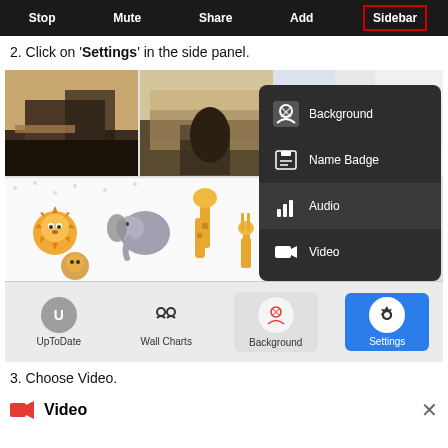[Figure (screenshot): Toolbar showing Stop, Mute, Share, Add, Sidebar buttons on dark background with Sidebar highlighted in red border]
2. Click on 'Settings' in the side panel.
[Figure (screenshot): Screenshot of virtual meeting background selection panel showing office and animal background thumbnails, a dropdown menu with Background, Name Badge, Audio, Video options, and a bottom bar with UpToDate, Wall Charts, Background, Settings icons (Settings selected/highlighted in blue)]
3. Choose Video.
[Figure (screenshot): Video settings panel header showing a red video camera icon and the text 'Video' with an X close button]